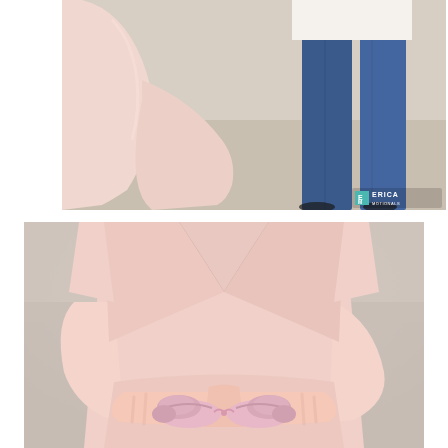[Figure (photo): Cropped photo showing lower halves of a couple standing outdoors on sandy ground. Woman wearing a flowy blush pink hi-lo dress, man wearing blue jeans and a white shirt. Erica Motionals watermark visible in bottom right corner.]
[Figure (photo): Close-up photo of a woman in a blush pink short-sleeve wrap dress holding a pair of small pink baby shoes with a bow in her cupped hands in front of her midsection. Background is blurred outdoor scenery.]